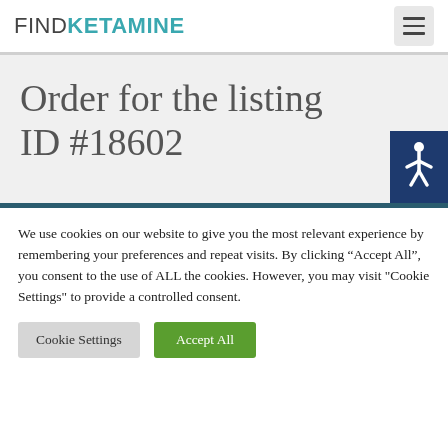FINDKETAMINE
Order for the listing ID #18602
We use cookies on our website to give you the most relevant experience by remembering your preferences and repeat visits. By clicking “Accept All”, you consent to the use of ALL the cookies. However, you may visit "Cookie Settings" to provide a controlled consent.
Cookie Settings
Accept All